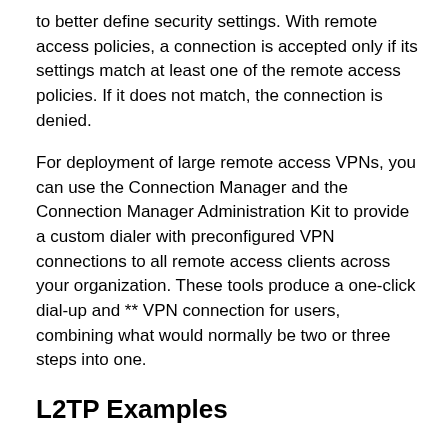to better define security settings. With remote access policies, a connection is accepted only if its settings match at least one of the remote access policies. If it does not match, the connection is denied.
For deployment of large remote access VPNs, you can use the Connection Manager and the Connection Manager Administration Kit to provide a custom dialer with preconfigured VPN connections to all remote access clients across your organization. These tools produce a one-click dial-up and ** VPN connection for users, combining what would normally be two or three steps into one.
L2TP Examples
Following are a few situations where you can use L2TP:
Persistent Connection Router-to-Router VPN    A router-